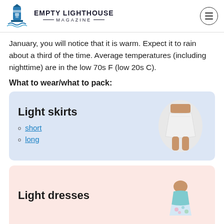EMPTY LIGHTHOUSE MAGAZINE
January, you will notice that it is warm. Expect it to rain about a third of the time. Average temperatures (including nighttime) are in the low 70s F (low 20s C).
What to wear/what to pack:
[Figure (photo): Light skirts card with blue background, showing a photo of a white mini skirt, with links to short and long options]
[Figure (photo): Light dresses card with pink background, showing a photo of a floral dress]